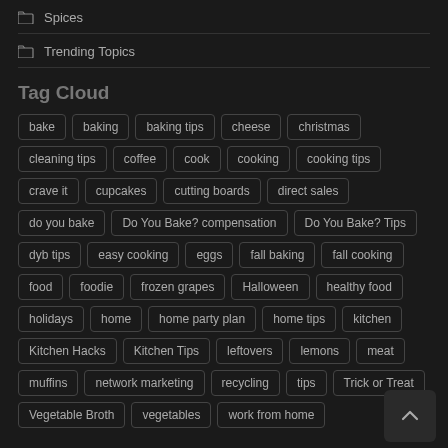Spices
Trending Topics
Tag Cloud
bake
baking
baking tips
cheese
christmas
cleaning tips
coffee
cook
cooking
cooking tips
crave it
cupcakes
cutting boards
direct sales
do you bake
Do You Bake? compensation
Do You Bake? Tips
dyb tips
easy cooking
eggs
fall baking
fall cooking
food
foodie
frozen grapes
Halloween
healthy food
holidays
home
home party plan
home tips
kitchen
Kitchen Hacks
Kitchen Tips
leftovers
lemons
meat
muffins
network marketing
recycling
tips
Trick or Treat
Vegetable Broth
vegetables
work from home